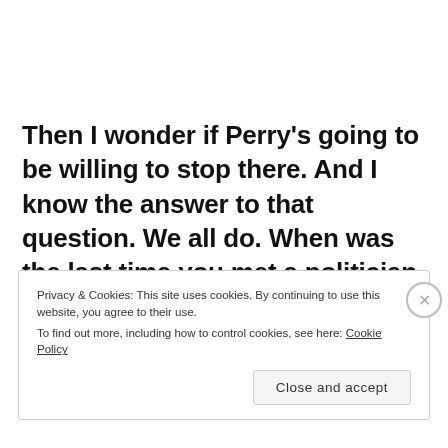Then I wonder if Perry's going to be willing to stop there. And I know the answer to that question. We all do. When was the last time you met a politician, even a Bizarro politician, who was willing to stop anywhere for anything?
Privacy & Cookies: This site uses cookies. By continuing to use this website, you agree to their use. To find out more, including how to control cookies, see here: Cookie Policy
Close and accept